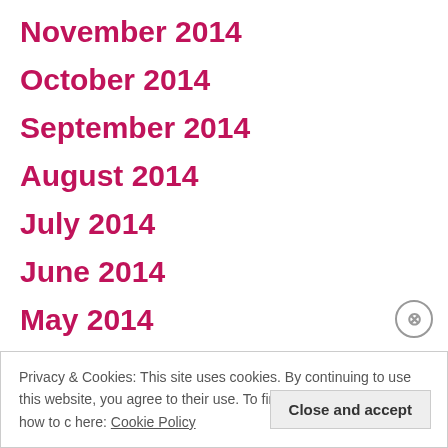November 2014
October 2014
September 2014
August 2014
July 2014
June 2014
May 2014
April 2014
Privacy & Cookies: This site uses cookies. By continuing to use this website, you agree to their use. To find out more, including how to c... here: Cookie Policy
Close and accept